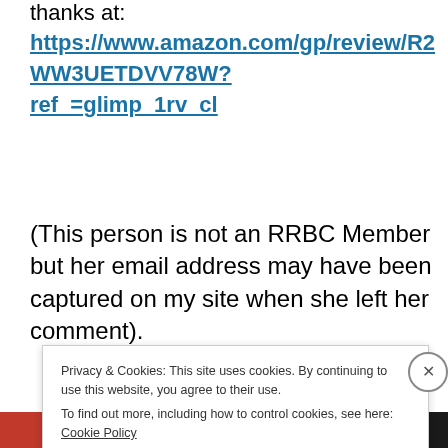thanks at:
https://www.amazon.com/gp/review/R2WW3UETDVV78W?ref_=glimp_1rv_cl
(This person is not an RRBC Member but her email address may have been captured on my site when she left her comment).
Privacy & Cookies: This site uses cookies. By continuing to use this website, you agree to their use.
To find out more, including how to control cookies, see here: Cookie Policy
Close and accept